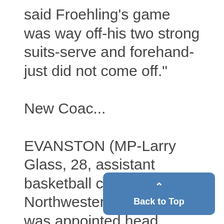said Froehling's game was way off-his two strong suits-serve and forehand-just did not come off."
New Coac...
EVANSTON (MP-Larry Glass, 28, assistant basketball coach at Northwestern University, was appointed head coach last night.
Glass succeeds Bill Rohr who resigned to become athletic director at Ohio University. Kelleher, also non-playing cap-